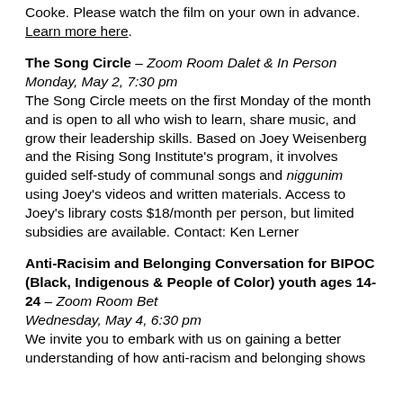Cooke. Please watch the film on your own in advance. Learn more here.
The Song Circle – Zoom Room Dalet & In Person
Monday, May 2, 7:30 pm
The Song Circle meets on the first Monday of the month and is open to all who wish to learn, share music, and grow their leadership skills. Based on Joey Weisenberg and the Rising Song Institute's program, it involves guided self-study of communal songs and niggunim using Joey's videos and written materials. Access to Joey's library costs $18/month per person, but limited subsidies are available. Contact: Ken Lerner
Anti-Racisim and Belonging Conversation for BIPOC (Black, Indigenous & People of Color) youth ages 14-24 – Zoom Room Bet
Wednesday, May 4, 6:30 pm
We invite you to embark with us on gaining a better understanding of how anti-racism and belonging shows